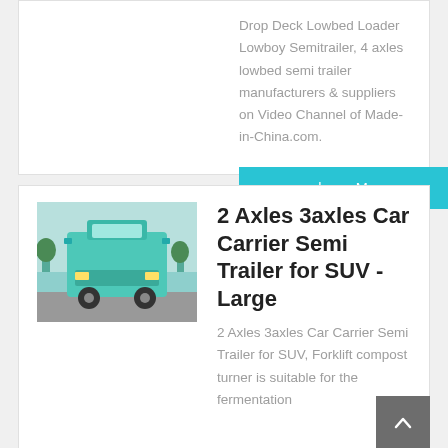Drop Deck Lowbed Loader Lowboy Semitrailer, 4 axles lowbed semi trailer manufacturers & suppliers on Video Channel of Made-in-China.com.
learn More
[Figure (photo): Front view of a green/teal heavy truck (HOWO-style) parked on a street]
2 Axles 3axles Car Carrier Semi Trailer for SUV - Large
2 Axles 3axles Car Carrier Semi Trailer for SUV, Forklift compost turner is suitable for the fermentation